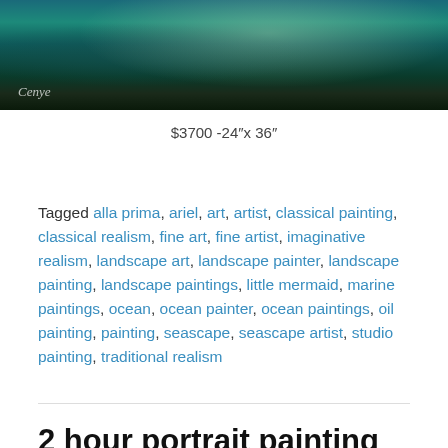[Figure (photo): Painting of a ocean/seascape scene with dark green foliage, rocky coastline, turquoise water with light reflections, and orange flowers. Artist signature 'Cenye' visible bottom left.]
$3700 -24″x 36″
Tagged alla prima, ariel, art, artist, classical painting, classical realism, fine art, fine artist, imaginative realism, landscape art, landscape painter, landscape painting, landscape paintings, little mermaid, marine paintings, ocean, ocean painter, ocean paintings, oil painting, painting, seascape, seascape artist, studio painting, traditional realism
2 hour portrait painting in 1 minute